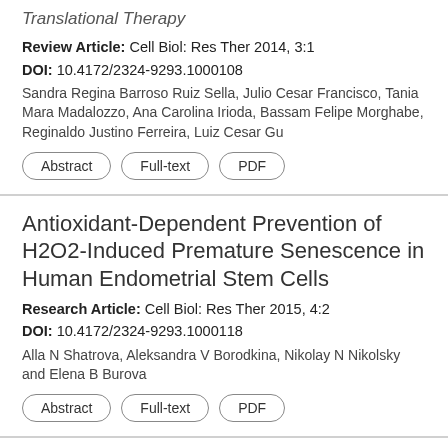Translational Therapy
Review Article: Cell Biol: Res Ther 2014, 3:1
DOI: 10.4172/2324-9293.1000108
Sandra Regina Barroso Ruiz Sella, Julio Cesar Francisco, Tania Mara Madalozzo, Ana Carolina Irioda, Bassam Felipe Morghabe, Reginaldo Justino Ferreira, Luiz Cesar Gu
Abstract
Full-text
PDF
Antioxidant-Dependent Prevention of H2O2-Induced Premature Senescence in Human Endometrial Stem Cells
Research Article: Cell Biol: Res Ther 2015, 4:2
DOI: 10.4172/2324-9293.1000118
Alla N Shatrova, Aleksandra V Borodkina, Nikolay N Nikolsky and Elena B Burova
Abstract
Full-text
PDF
Future of Medical Practice and the Key Roll of Cell Biology; Bench to Beside
Editorial: Cell Biol: Res Ther 2012, 1:2
DOI: